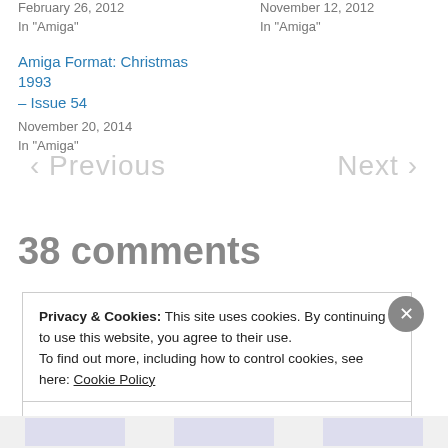February 26, 2012
In "Amiga"
November 12, 2012
In "Amiga"
Amiga Format: Christmas 1993 – Issue 54
November 20, 2014
In "Amiga"
< Previous
Next >
38 comments
Privacy & Cookies: This site uses cookies. By continuing to use this website, you agree to their use.
To find out more, including how to control cookies, see here: Cookie Policy
Close and accept